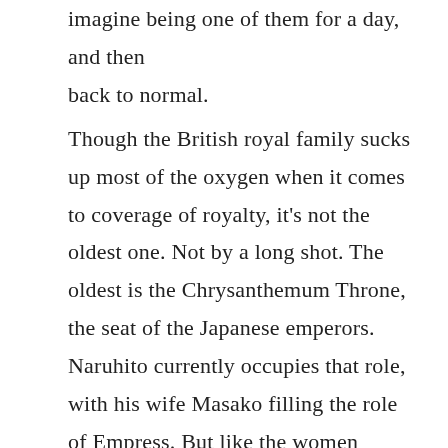imagine being one of them for a day, and then back to normal.
Though the British royal family sucks up most of the oxygen when it comes to coverage of royalty, it's not the oldest one. Not by a long shot. The oldest is the Chrysanthemum Throne, the seat of the Japanese emperors. Naruhito currently occupies that role, with his wife Masako filling the role of Empress. But like the women married to the British princes, Masako Owada wasn't born into nobility. She grew up in Russia, Japan, and the United States as the daughter of a diplomat. She herself even worked as a diplomat. But once she accepted then-Prince Naruhito's marriage